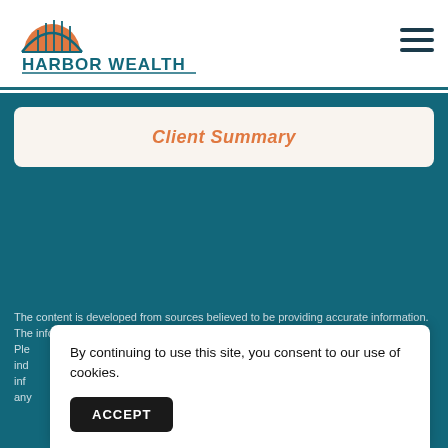[Figure (logo): Harbor Wealth logo with orange sun and teal bridge arch above the text HARBOR WEALTH]
[Figure (other): Hamburger menu icon with three horizontal dark bars]
Client Summary
The content is developed from sources believed to be providing accurate information. The information in this material is not intended as tax or legal advice. Ple... ind... inf... any...
By continuing to use this site, you consent to our use of cookies.